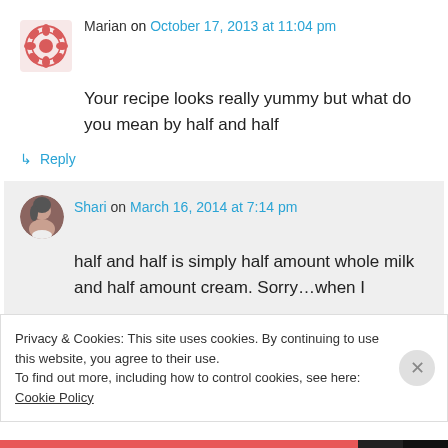Marian on October 17, 2013 at 11:04 pm
Your recipe looks really yummy but what do you mean by half and half
↳ Reply
Shari on March 16, 2014 at 7:14 pm
half and half is simply half amount whole milk and half amount cream. Sorry…when I
Privacy & Cookies: This site uses cookies. By continuing to use this website, you agree to their use.
To find out more, including how to control cookies, see here: Cookie Policy
Close and accept